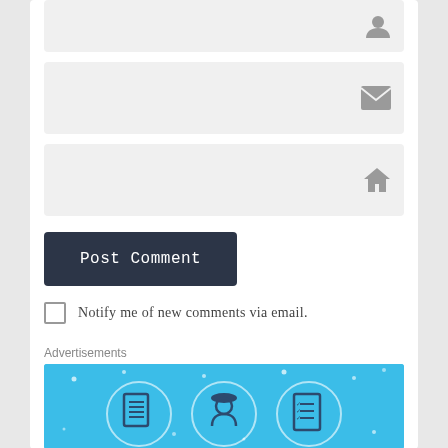[Figure (screenshot): Form input field with person/user icon on the right side, gray background]
[Figure (screenshot): Form input field with email/envelope icon on the right side, gray background]
[Figure (screenshot): Form input field with home/house icon on the right side, gray background]
Post Comment
Notify me of new comments via email.
Notify me of new posts via email.
Advertisements
[Figure (infographic): Blue advertisement banner with illustrated icons of documents, worker/person, and checklist in circular frames]